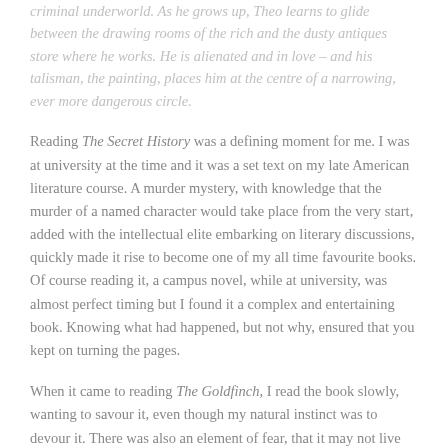criminal underworld. As he grows up, Theo learns to glide between the drawing rooms of the rich and the dusty antiques store where he works. He is alienated and in love – and his talisman, the painting, places him at the centre of a narrowing, ever more dangerous circle.
Reading The Secret History was a defining moment for me. I was at university at the time and it was a set text on my late American literature course. A murder mystery, with knowledge that the murder of a named character would take place from the very start, added with the intellectual elite embarking on literary discussions, quickly made it rise to become one of my all time favourite books. Of course reading it, a campus novel, while at university, was almost perfect timing but I found it a complex and entertaining book. Knowing what had happened, but not why, ensured that you kept on turning the pages.
When it came to reading The Goldfinch, I read the book slowly, wanting to savour it, even though my natural instinct was to devour it. There was also an element of fear, that it may not live up to The Secret History and fall flat. Thankfully, Tartt has delivered again, yet in different ways. Gone is the campus setting and unreliable narrator I never quite learnt to trust and instead it is a